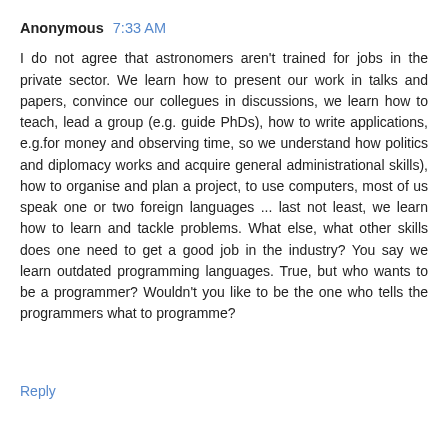Anonymous 7:33 AM
I do not agree that astronomers aren't trained for jobs in the private sector. We learn how to present our work in talks and papers, convince our collegues in discussions, we learn how to teach, lead a group (e.g. guide PhDs), how to write applications, e.g.for money and observing time, so we understand how politics and diplomacy works and acquire general administrational skills), how to organise and plan a project, to use computers, most of us speak one or two foreign languages ... last not least, we learn how to learn and tackle problems. What else, what other skills does one need to get a good job in the industry? You say we learn outdated programming languages. True, but who wants to be a programmer? Wouldn't you like to be the one who tells the programmers what to programme?
Reply